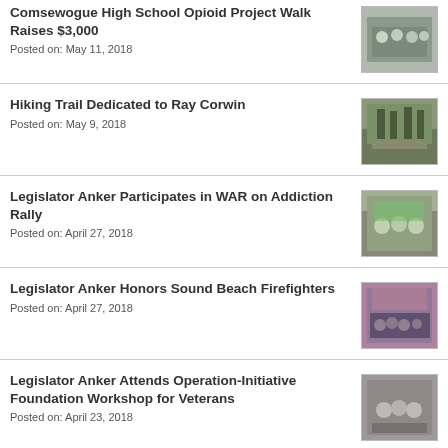Comsewogue High School Opioid Project Walk Raises $3,000
Posted on: May 11, 2018
Hiking Trail Dedicated to Ray Corwin
Posted on: May 9, 2018
Legislator Anker Participates in WAR on Addiction Rally
Posted on: April 27, 2018
Legislator Anker Honors Sound Beach Firefighters
Posted on: April 27, 2018
Legislator Anker Attends Operation-Initiative Foundation Workshop for Veterans
Posted on: April 23, 2018
Legislator Anker Participates in 4th Annual